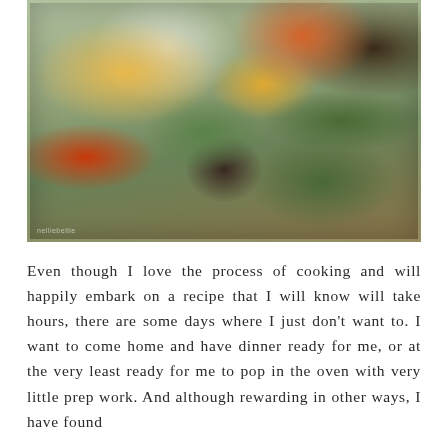[Figure (photo): A glass baking dish filled with colorful roasted vegetables including cauliflower, broccoli, cherry tomatoes, yellow/orange bell peppers, artichokes, mushrooms, and other vegetables, sprinkled with sesame seeds or pine nuts, shot from above at an angle on a white cloth background.]
Even though I love the process of cooking and will happily embark on a recipe that I will know will take hours, there are some days where I just don't want to. I want to come home and have dinner ready for me, or at the very least ready for me to pop in the oven with very little prep work. And although rewarding in other ways, I have found